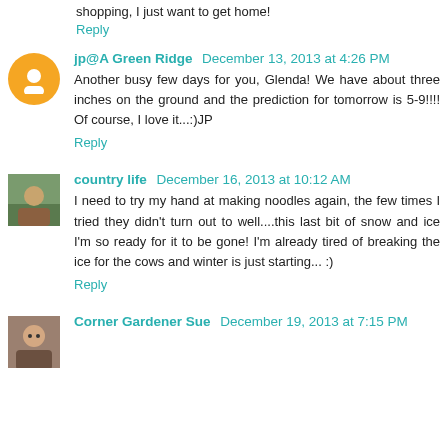shopping, I just want to get home!
Reply
jp@A Green Ridge  December 13, 2013 at 4:26 PM
Another busy few days for you, Glenda! We have about three inches on the ground and the prediction for tomorrow is 5-9!!!! Of course, I love it...:)JP
Reply
country life  December 16, 2013 at 10:12 AM
I need to try my hand at making noodles again, the few times I tried they didn't turn out to well....this last bit of snow and ice I'm so ready for it to be gone! I'm already tired of breaking the ice for the cows and winter is just starting... :)
Reply
Corner Gardener Sue  December 19, 2013 at 7:15 PM